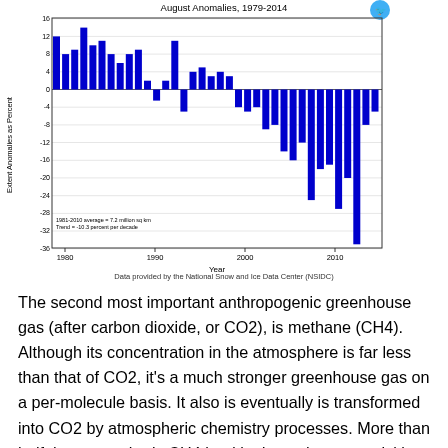[Figure (bar-chart): August Anomalies, 1979-2014]
Data provided by the National Snow and Ice Data Center (NSIDC)
The second most important anthropogenic greenhouse gas (after carbon dioxide, or CO2), is methane (CH4). Although its concentration in the atmosphere is far less than that of CO2, it's a much stronger greenhouse gas on a per-molecule basis. It also is eventually is transformed into CO2 by atmospheric chemistry processes. More than half the atmospheric CH4 load is due to human activities. At...